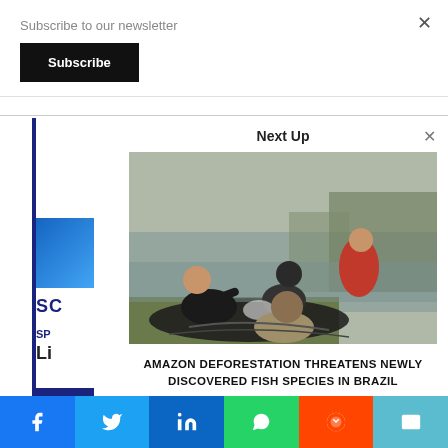Subscribe to our newsletter
Subscribe
Next Up
[Figure (photo): Researchers or fishermen kneeling by a riverbank examining fish in a plastic bag, with water and trees visible in background]
AMAZON DEFORESTATION THREATENS NEWLY DISCOVERED FISH SPECIES IN BRAZIL